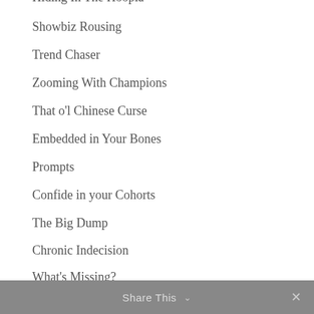Hiding In The Hoopla
Showbiz Rousing
Trend Chaser
Zooming With Champions
That o'l Chinese Curse
Embedded in Your Bones
Prompts
Confide in your Cohorts
The Big Dump
Chronic Indecision
What's Missing?
How to prioritize when everything is #1
Blind Ambition
Share This ∨  ✕